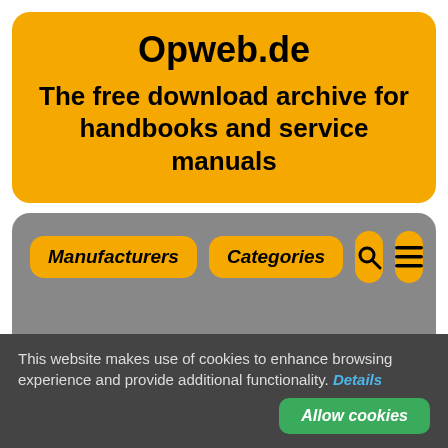Opweb.de
The free download archive for handbooks and service manuals
[Figure (screenshot): Navigation bar with orange buttons: Manufacturers, Categories, search icon, menu icon on a grey rounded background]
This website makes use of cookies to enhance browsing experience and provide additional functionality. Details
Allow cookies